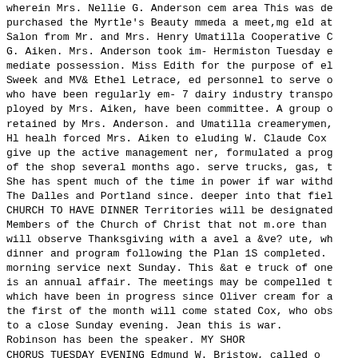wherein Mrs. Nellie G. Anderson cem area This was de purchased the Myrtle's Beauty mmeda a meet,mg eld at Salon from Mr. and Mrs. Henry Umatilla Cooperative C G. Aiken. Mrs. Anderson took im- Hermiston Tuesday e mediate possession. Miss Edith for the purpose of el Sweek and MV& Ethel Letrace, ed personnel to serve o who have been regularly em- 7 dairy industry transpo ployed by Mrs. Aiken, have been committee. A group o retained by Mrs. Anderson. and Umatilla creamerymen, Hl healh forced Mrs. Aiken to eluding W. Claude Cox give up the active management ner, formulated a prog of the shop several months ago. serve trucks, gas, t She has spent much of the time in power if war withd The Dalles and Portland since. deeper into that fiel CHURCH TO HAVE DINNER Territories will be designated Members of the Church of Christ that not m.ore than will observe Thanksgiving with a avel a &ve? ute, wh dinner and program following the Plan 1S completed. morning service next Sunday. This &at e truck of one is an annual affair. The meetings may be compelled t which have been in progress since Oliver cream for a the first of the month will come stated Cox, who obs to a close Sunday evening. Jean this is war. Robinson has been the speaker. MY SHOR CHORUS TUESDAY EVENING Edmund W. Bristow, called o